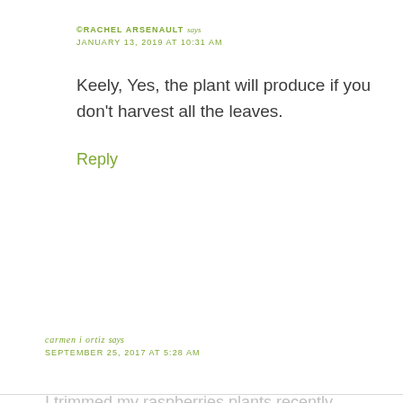©RACHEL ARSENAULT says
JANUARY 13, 2019 AT 10:31 AM
Keely, Yes, the plant will produce if you don't harvest all the leaves.
Reply
carmen i ortiz says
SEPTEMBER 25, 2017 AT 5:28 AM
I trimmed my raspberries plants recently